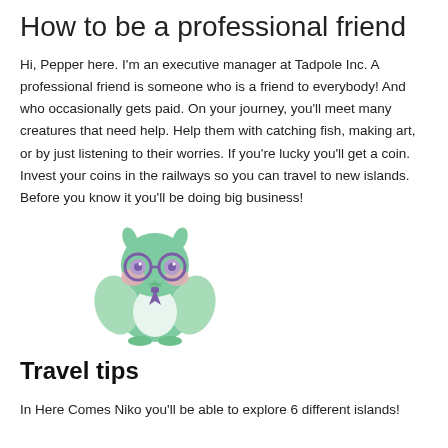How to be a professional friend
Hi, Pepper here. I'm an executive manager at Tadpole Inc. A professional friend is someone who is a friend to everybody! And who occasionally gets paid. On your journey, you'll meet many creatures that need help. Help them with catching fish, making art, or by just listening to their worries. If you're lucky you'll get a coin. Invest your coins in the railways so you can travel to new islands. Before you know it you'll be doing big business!
[Figure (illustration): A cartoon green owl/bird character wearing purple glasses and a purple tie, with pink cheeks, looking forward with a friendly expression.]
Travel tips
In Here Comes Niko you'll be able to explore 6 different islands!